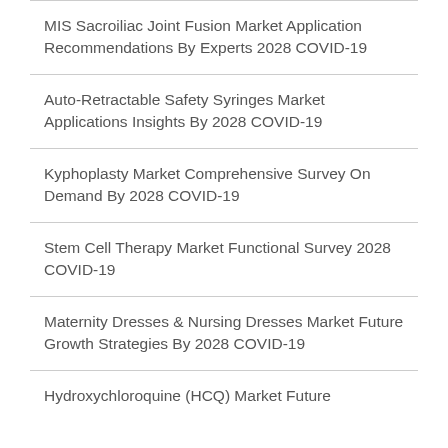MIS Sacroiliac Joint Fusion Market Application Recommendations By Experts 2028 COVID-19
Auto-Retractable Safety Syringes Market Applications Insights By 2028 COVID-19
Kyphoplasty Market Comprehensive Survey On Demand By 2028 COVID-19
Stem Cell Therapy Market Functional Survey 2028 COVID-19
Maternity Dresses & Nursing Dresses Market Future Growth Strategies By 2028 COVID-19
Hydroxychloroquine (HCQ) Market Future